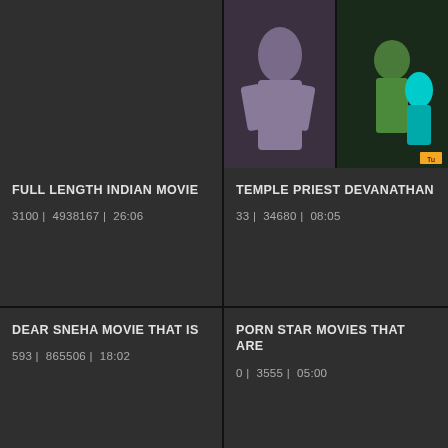[Figure (screenshot): Video thumbnail grid showing two columns. Top left cell is dark/empty. Top right cell shows two video thumbnails side by side.]
FULL LENGTH INDIAN MOVIE
3100 |  4938167 |  26:06
TEMPLE PRIEST DEVANATHAN
33 |  34680 |  08:05
DEAR SNEHA MOVIE THAT IS
593 |  865506 |  18:02
PORN STAR MOVIES THAT ARE
0 |  3555 |  05:00